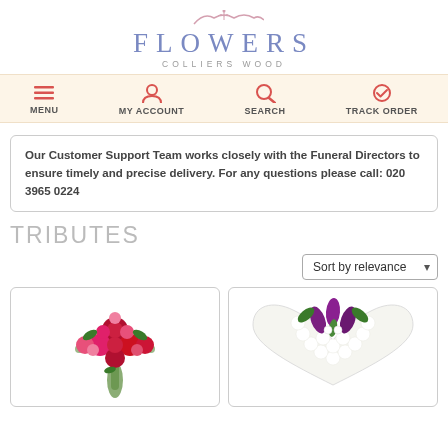[Figure (logo): Flowers Colliers Wood logo with decorative branch above text]
MENU  MY ACCOUNT  SEARCH  TRACK ORDER
Our Customer Support Team works closely with the Funeral Directors to ensure timely and precise delivery. For any questions please call: 020 3965 0224
TRIBUTES
Sort by relevance
[Figure (photo): Floral cross tribute arrangement with red roses and pink flowers]
[Figure (photo): Heart-shaped white floral tribute with purple calla lilies]